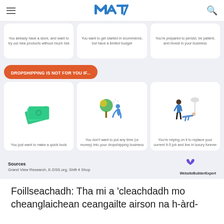MTE logo header with hamburger menu and search icon
[Figure (screenshot): Screenshot of a webpage about dropshipping. Top section shows three cards (partially visible) with text about who dropshipping is for. A red/orange banner reads 'DROPSHIPPING IS NOT FOR YOU IF...' Below are three illustrated cards: 1) Money/cash illustration with text 'You just want to make a quick buck', 2) Person sitting under a tree illustration with text 'You don't want to put any time (or money) into your dropshipping business', 3) Person lying on floor illustration with text 'You’re relying on it to replace your current 9-5 job and live in luxury forever'. Bottom shows Sources section with 'Grand View Research, E-DSS.org, Shift 4 Shop' and WebsiteBuilderExpert logo.]
Foillseachadh: Tha mi a ‘cleachdadh mo cheanglaichean ceangailte airson na h-àrd-